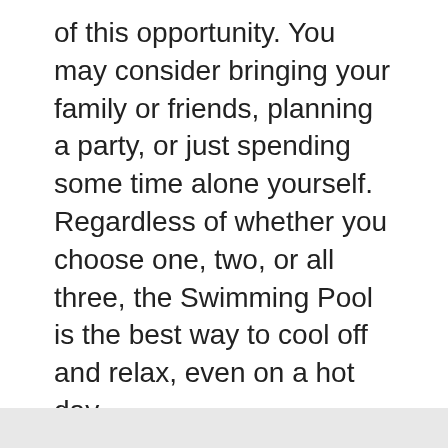of this opportunity. You may consider bringing your family or friends, planning a party, or just spending some time alone yourself. Regardless of whether you choose one, two, or all three, the Swimming Pool is the best way to cool off and relax, even on a hot day.
The fun and positivity of an inflatable swimming pool is also the ultimate solution to relieving your stress without having to leave your home. These toys are filled with a whole lot of priceless happiness that you could bond with your family members and friends.
#Party
#Pool